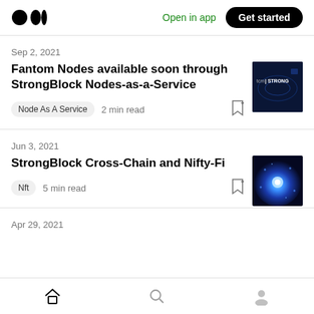Medium app header with logo, Open in app link, and Get started button
Sep 2, 2021
Fantom Nodes available soon through StrongBlock Nodes-as-a-Service
Node As A Service · 2 min read
Jun 3, 2021
StrongBlock Cross-Chain and Nifty-Fi
Nft · 5 min read
Apr 29, 2021
Bottom navigation bar: Home, Search, Profile